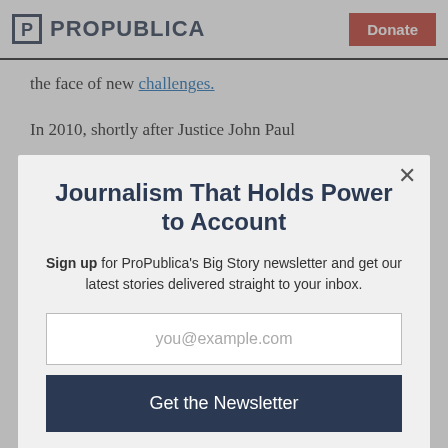ProPublica
the face of new challenges.
In 2010, shortly after Justice John Paul
Journalism That Holds Power to Account
Sign up for ProPublica's Big Story newsletter and get our latest stories delivered straight to your inbox.
you@example.com
Get the Newsletter
No thanks, I'm all set
This site is protected by reCAPTCHA and the Google Privacy Policy and Terms of Service apply.